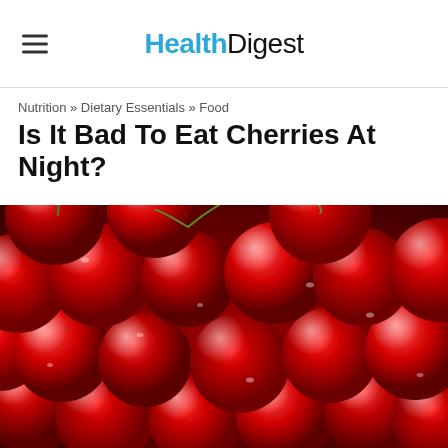Health Digest
Nutrition » Dietary Essentials » Food
Is It Bad To Eat Cherries At Night?
[Figure (photo): Close-up photograph of a large pile of fresh red cherries with water droplets, with a single green leaf and stems visible in the center.]